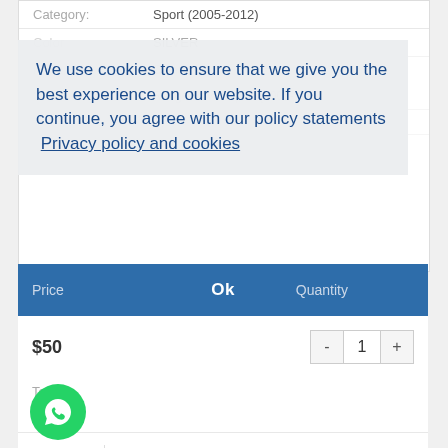Category: Sport (2005-2012)
Color: SILVER
We use cookies to ensure that we give you the best experience on our website. If you continue, you agree with our policy statements  Privacy policy and cookies
Price   Ok   Quantity
$50   -  1  +
Total
$50
ADD TO CART